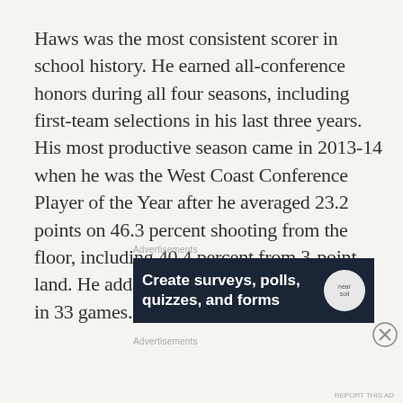Haws was the most consistent scorer in school history. He earned all-conference honors during all four seasons, including first-team selections in his last three years. His most productive season came in 2013-14 when he was the West Coast Conference Player of the Year after he averaged 23.2 points on 46.3 percent shooting from the floor, including 40.4 percent from 3-point land. He added 3.8 rebounds and 1.5 assists in 33 games.
Advertisements
[Figure (screenshot): Dark navy advertisement banner reading 'Create surveys, polls, quizzes, and forms' with a circular logo on the right]
Advertisements